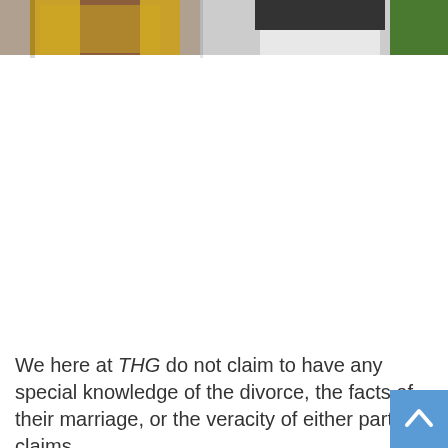[Figure (photo): Photo of people at an event, showing figures in formal/party attire. Left figure in a gold sequined dress, right figure in a white dress with a dark patterned accessory. Image is cropped to show torsos and partial background.]
We here at THG do not claim to have any special knowledge of the divorce, the facts of their marriage, or the veracity of either party's claims.